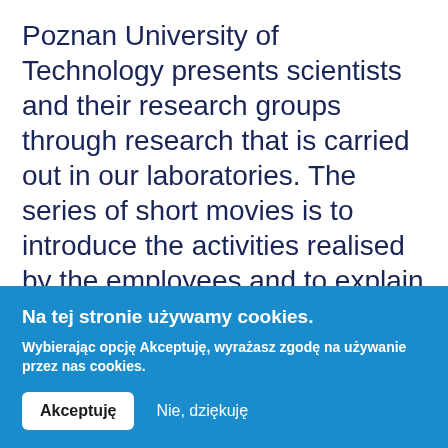Poznan University of Technology presents scientists and their research groups through research that is carried out in our laboratories. The series of short movies is to introduce the activities realised by the employees and to explain what they do and how their work affects the lives of each of us.
Na tej stronie używamy cookies. Wybierając opcję Akceptuję, wyrażasz zgodę na używanie przez nas cookies.
Akceptuję   Nie, dziękuję